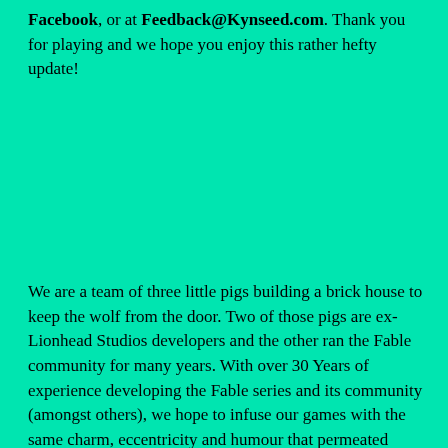Facebook, or at Feedback@Kynseed.com. Thank you for playing and we hope you enjoy this rather hefty update!
We are a team of three little pigs building a brick house to keep the wolf from the door. Two of those pigs are ex-Lionhead Studios developers and the other ran the Fable community for many years. With over 30 Years of experience developing the Fable series and its community (amongst others), we hope to infuse our games with the same charm, eccentricity and humour that permeated Lionhead's games.